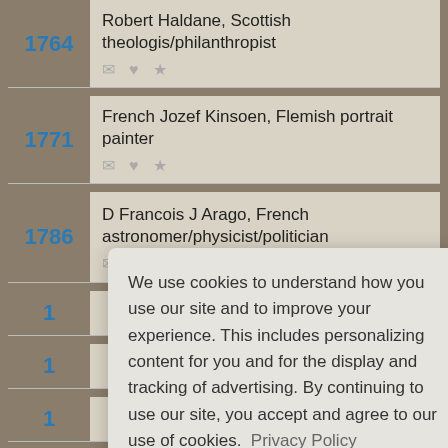1764 Robert Haldane, Scottish theologis/philanthropist
1771 French Jozef Kinsoen, Flemish portrait painter
1786 D Francois J Arago, French astronomer/physicist/politician
We use cookies to understand how you use our site and to improve your experience. This includes personalizing content for you and for the display and tracking of advertising. By continuing to use our site, you accept and agree to our use of cookies. Privacy Policy
Got it!
1870 (partial, icons visible)